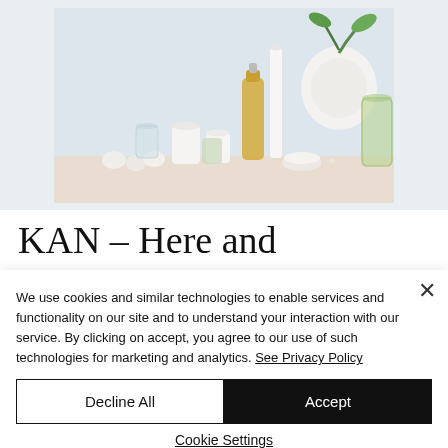[Figure (photo): Lifestyle photo of skincare/wellness products — glass bottles with yellow and clear liquids, white ceramic candle holders, a white vase with green leaves, small white pebbles, on a light wooden surface with pale blue background.]
KAN – Here and Now
We use cookies and similar technologies to enable services and functionality on our site and to understand your interaction with our service. By clicking on accept, you agree to our use of such technologies for marketing and analytics. See Privacy Policy
Decline All
Accept
Cookie Settings